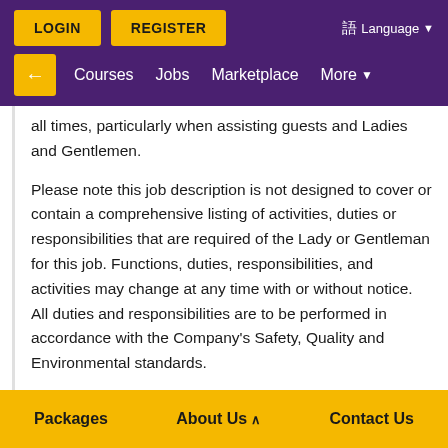[Figure (screenshot): Purple navigation bar with LOGIN and REGISTER yellow buttons, language selector, back arrow, Courses, Jobs, Marketplace, More navigation links]
all times, particularly when assisting guests and Ladies and Gentlemen.
Please note this job description is not designed to cover or contain a comprehensive listing of activities, duties or responsibilities that are required of the Lady or Gentleman for this job. Functions, duties, responsibilities, and activities may change at any time with or without notice. All duties and responsibilities are to be performed in accordance with the Company's Safety, Quality and Environmental standards.
ESSENTIAL DUTIES
Packages   About Us   Contact Us